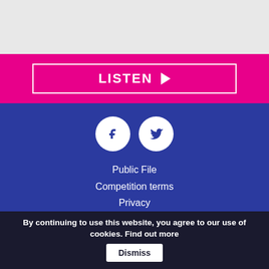[Figure (screenshot): Grey top area placeholder]
[Figure (illustration): Pink LISTEN button with white border and play arrow]
[Figure (logo): Facebook and Twitter social media icons in white circles on blue background]
Public File
Competition terms
Privacy
Terms and Conditions
Love 80's
Silk 106.9
Dee Radio - Part of the Dee Radio Group
© 2022 Dee Radio Group. Powered by Aiir
By continuing to use this website, you agree to our use of cookies. Find out more
Dismiss